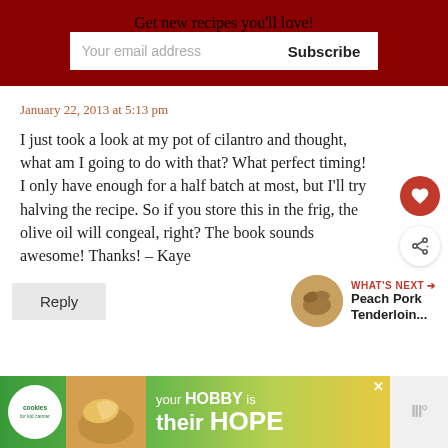Get new recipes you'll love!
January 22, 2013 at 5:13 pm
I just took a look at my pot of cilantro and thought, what am I going to do with that? What perfect timing! I only have enough for a half batch at most, but I'll try halving the recipe. So if you store this in the frig, the olive oil will congeal, right? The book sounds awesome! Thanks! – Kaye
Reply
WHAT'S NEXT → Peach Pork Tenderloin...
[Figure (infographic): Advertisement banner: cookies for kid cancer / your HOBBY is their HOPE]